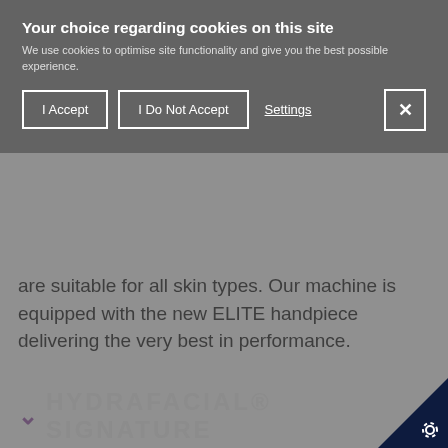Your choice regarding cookies on this site
We use cookies to optimise site functionality and give you the best possible experience.
are suitable for all skin types. Our machine is equipped with the new ELITE handpiece delivering the very best in performance.
HYDRAFACIAL® SIGNATURE
The HydraFacial® Signature is perfect for young skin needing a quick pick-me-up or deep cleanse and easy to fit into a busy schedule.
It starts with a deep cleanse to remove the dead skin cells and excess sebum from your skin.